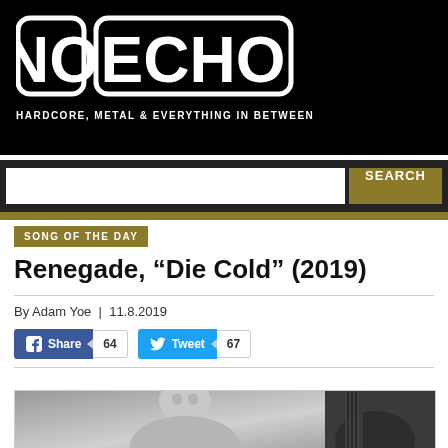NO ECHO — HARDCORE, METAL & EVERYTHING IN BETWEEN
SEARCH
SONG OF THE DAY
Renegade, “Die Cold” (2019)
By Adam Yoe | 11.8.2019
Share 64   Tweet 67
[Figure (photo): Black and white photo of musicians, one person visible with guitar neck visible on right side]